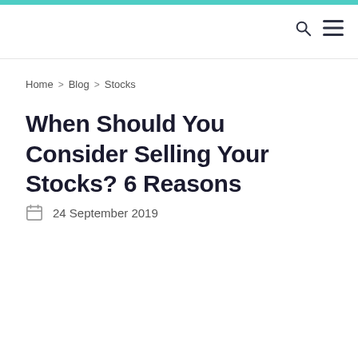Home > Blog > Stocks
When Should You Consider Selling Your Stocks? 6 Reasons
24 September 2019